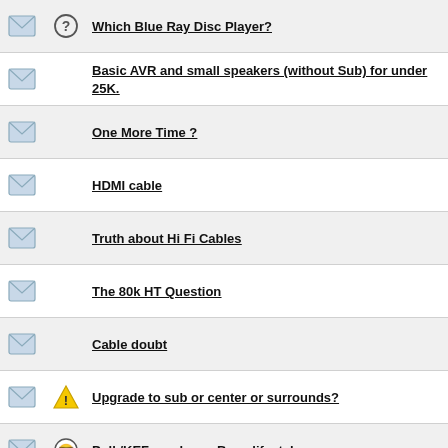Which Blue Ray Disc Player?
Basic AVR and small speakers (without Sub) for under 25K.
One More Time ?
HDMI cable
Truth about Hi Fi Cables
The 80k HT Question
Cable doubt
Upgrade to sub or center or surrounds?
Polk/KEF combo vs Bose lifestyle
MS subwoofer - 309i or 409w?